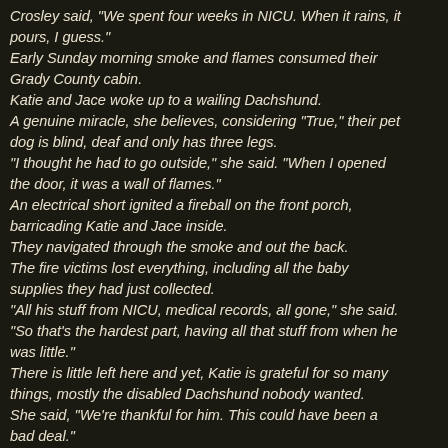Crosley said, "We spent four weeks in NICU. When it rains, it pours, I guess." Early Sunday morning smoke and flames consumed their Grady County cabin. Katie and Jace woke up to a wailing Dachshund. A genuine miracle, she believes, considering "True," their pet dog is blind, deaf and only has three legs. "I thought he had to go outside," she said. "When I opened the door, it was a wall of flames." An electrical short ignited a fireball on the front porch, barricading Katie and Jace inside. They navigated through the smoke and out the back. The fire victims lost everything, including all the baby supplies they had just collected. "All his stuff from NICU, medical records, all gone," she said. "So that's the hardest part, having all that stuff from when he was little." There is little left here and yet, Katie is grateful for so many things, mostly the disabled Dachshund nobody wanted. She said, "We're thankful for him. This could have been a bad deal." An animal rescue that somehow returned the favor.